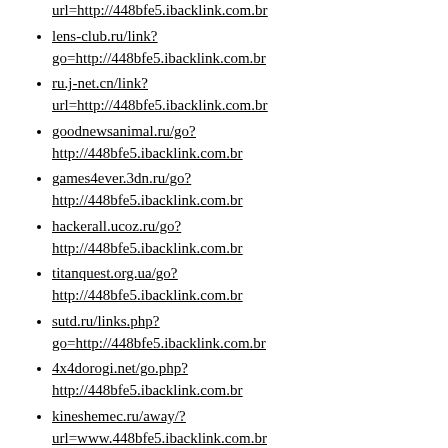url=http://448bfe5.ibacklink.com.br
lens-club.ru/link?
go=http://448bfe5.ibacklink.com.br
ru.j-net.cn/link?
url=http://448bfe5.ibacklink.com.br
goodnewsanimal.ru/go?
http://448bfe5.ibacklink.com.br
games4ever.3dn.ru/go?
http://448bfe5.ibacklink.com.br
hackerall.ucoz.ru/go?
http://448bfe5.ibacklink.com.br
titanquest.org.ua/go?
http://448bfe5.ibacklink.com.br
sutd.ru/links.php?
go=http://448bfe5.ibacklink.com.br
4x4dorogi.net/go.php?
http://448bfe5.ibacklink.com.br
kineshemec.ru/away/?
url=www.448bfe5.ibacklink.com.br